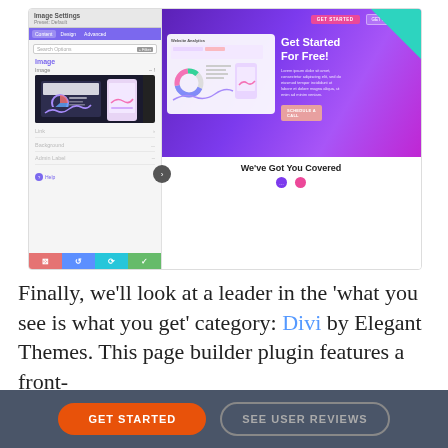[Figure (screenshot): Screenshot of Divi page builder interface showing Image Settings panel on the left and a website preview on the right with 'Get Started For Free!' hero section and 'We've Got You Covered' section below]
Finally, we'll look at a leader in the 'what you see is what you get' category: Divi by Elegant Themes. This page builder plugin features a front-
GET STARTED    SEE USER REVIEWS